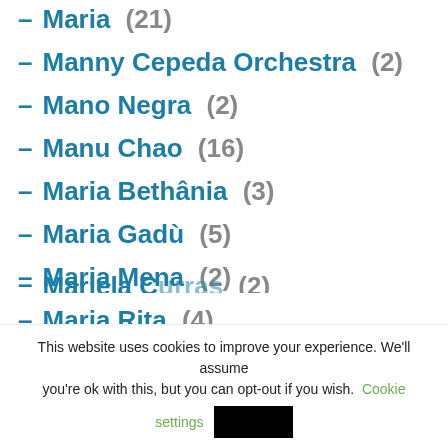– Maria (21)
– Manny Cepeda Orchestra (2)
– Mano Negra (2)
– Manu Chao (16)
– Maria Bethânia (3)
– Maria Gadù (5)
– Maria Mena (2)
– Maria Rita (4)
– Mariela Curras (2)
This website uses cookies to improve your experience. We'll assume you're ok with this, but you can opt-out if you wish. Cookie settings